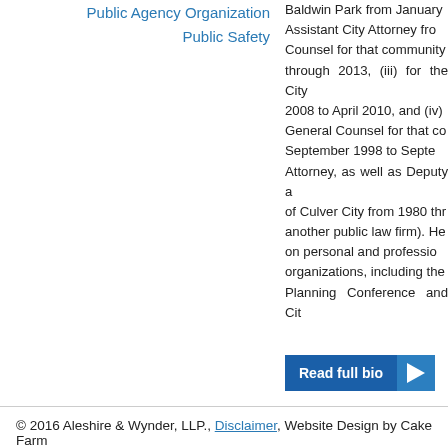Public Agency Organization
Public Safety
Baldwin Park from January... Assistant City Attorney from... Counsel for that community... through 2013, (iii) for the City... 2008 to April 2010, and (iv)... General Counsel for that com... September 1998 to Septem... Attorney, as well as Deputy a... of Culver City from 1980 thr... another public law firm). He... on personal and professio... organizations, including the... Planning Conference and Cit...
Read full bio
© 2016 Aleshire & Wynder, LLP., Disclaimer, Website Design by Cake Farm